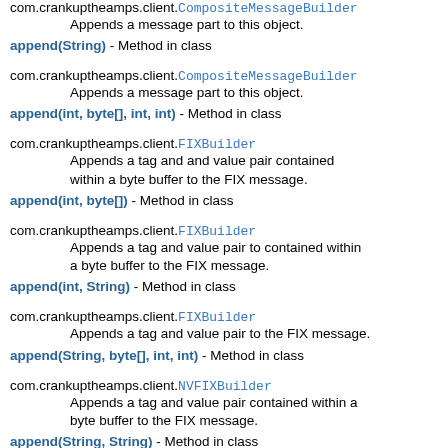append(byte[], int, int) - Method in class com.crankuptheamps.client.CompositeMessageBuilder
    Appends a message part to this object.
append(String) - Method in class com.crankuptheamps.client.CompositeMessageBuilder
    Appends a message part to this object.
append(int, byte[], int, int) - Method in class com.crankuptheamps.client.FIXBuilder
    Appends a tag and and value pair contained within a byte buffer to the FIX message.
append(int, byte[]) - Method in class com.crankuptheamps.client.FIXBuilder
    Appends a tag and value pair to contained within a byte buffer to the FIX message.
append(int, String) - Method in class com.crankuptheamps.client.FIXBuilder
    Appends a tag and value pair to the FIX message.
append(String, byte[], int, int) - Method in class com.crankuptheamps.client.NVFIXBuilder
    Appends a tag and value pair contained within a byte buffer to the FIX message.
append(String, String) - Method in class com.crankuptheamps.client.NVFIXBuilder
    Appends a tag and value pair to the FIX message.
apply(T) - Method in interface com.crankuptheamps.client.util.SerializableFunction
    Invokes the function with the specified argument.